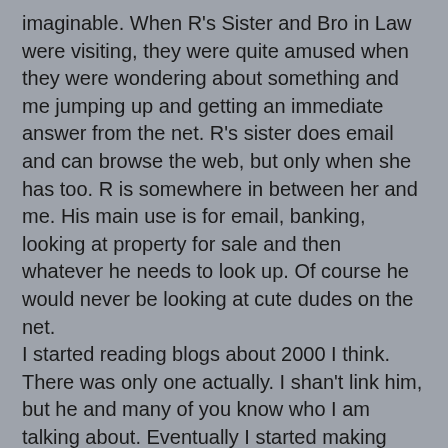imaginable. When R's Sister and Bro in Law were visiting, they were quite amused when they were wondering about something and me jumping up and getting an immediate answer from the net. R's sister does email and can browse the web, but only when she has too. R is somewhere in between her and me. His main use is for email, banking, looking at property for sale and then whatever he needs to look up. Of course he would never be looking at cute dudes on the net.
I started reading blogs about 2000 I think. There was only one actually. I shan't link him, but he and many of you know who I am talking about. Eventually I started making comments, at first brief, but then I found the comments getting longer and longer and more detailed. I thought, maybe I have some things to say that will interest people. With a wee bit of direction by the original blogger, I started this one. Oh dear, this is sounding like an blog anniversary post. Never mind, as I say, it is my blog, I write what I want.
One post I once wrote questioned why couldn't I find older blog writers, people around my age and poof!, Lord